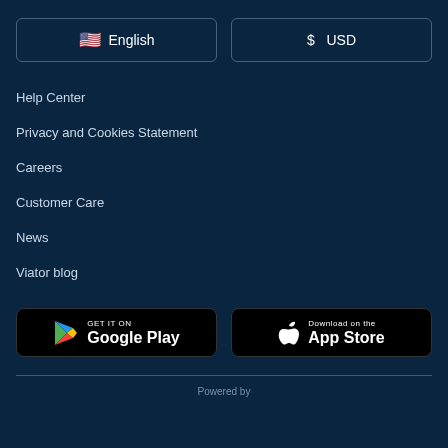🇺🇸 English
$ USD
Help Center
Privacy and Cookies Statement
Careers
Customer Care
News
Viator blog
[Figure (screenshot): GET IT ON Google Play button]
[Figure (screenshot): Download on the App Store button]
Powered by